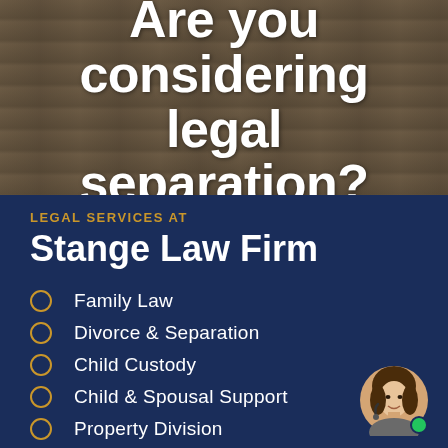Are you considering legal separation?
LEGAL SERVICES AT
Stange Law Firm
Family Law
Divorce & Separation
Child Custody
Child & Spousal Support
Property Division
[Figure (photo): Circular avatar photo of a woman with headset/microphone, with a small green online status dot]